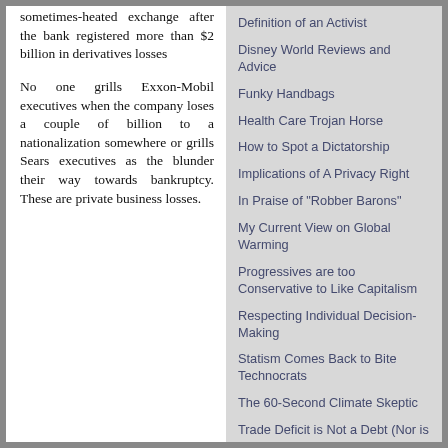sometimes-heated exchange after the bank registered more than $2 billion in derivatives losses

No one grills Exxon-Mobil executives when the company loses a couple of billion to a nationalization somewhere or grills Sears executives as the blunder their way towards bankruptcy. These are private business losses.
Definition of an Activist
Disney World Reviews and Advice
Funky Handbags
Health Care Trojan Horse
How to Spot a Dictatorship
Implications of A Privacy Right
In Praise of "Robber Barons"
My Current View on Global Warming
Progressives are too Conservative to Like Capitalism
Respecting Individual Decision-Making
Statism Comes Back to Bite Technocrats
The 60-Second Climate Skeptic
Trade Deficit is Not a Debt (Nor is it Bad)
Wealth Creation and the Zero Sum Economics Fallacy
Why the Right to Vote is Not What Made America Great